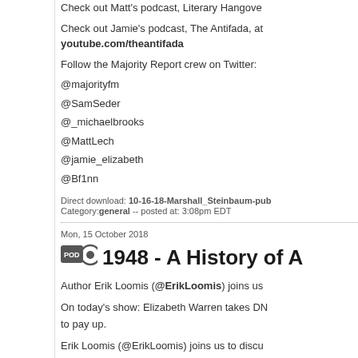Check out Matt's podcast, Literary Hangove
Check out Jamie's podcast, The Antifada, at youtube.com/theantifada
Follow the Majority Report crew on Twitter:
@majorityfm
@SamSeder
@_michaelbrooks
@MattLech
@jamie_elizabeth
@Bf1nn
Direct download: 10-16-18-Marshall_Steinbaum-pub Category:general -- posted at: 3:08pm EDT
Mon, 15 October 2018
1948 - A History of A
Author Erik Loomis (@ErikLoomis) joins us
On today's show: Elizabeth Warren takes DN to pay up.
Erik Loomis (@ErikLoomis) joins us to discu organized labor must oppose racism and se (white) workers chose race over class, parti can play a role in labor victories. The Demo progressives can, and should, take over the